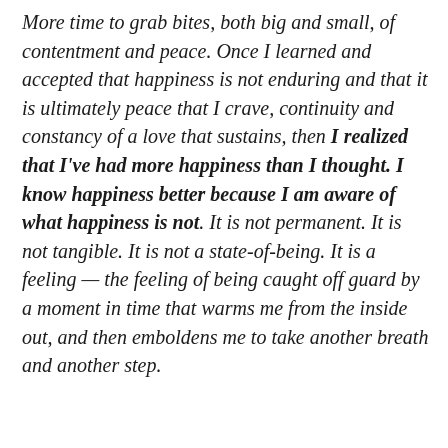More time to grab bites, both big and small, of contentment and peace. Once I learned and accepted that happiness is not enduring and that it is ultimately peace that I crave, continuity and constancy of a love that sustains, then I realized that I've had more happiness than I thought. I know happiness better because I am aware of what happiness is not. It is not permanent. It is not tangible. It is not a state-of-being. It is a feeling — the feeling of being caught off guard by a moment in time that warms me from the inside out, and then emboldens me to take another breath and another step.